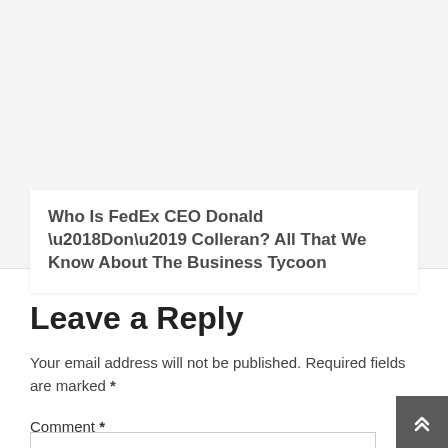Who Is FedEx CEO Donald ‘Don’ Colleran? All That We Know About The Business Tycoon
Leave a Reply
Your email address will not be published. Required fields are marked *
Comment *